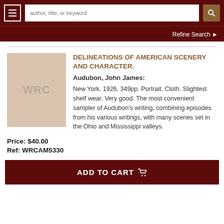author, title, or keyword | Refine Search
[Figure (other): Book cover placeholder with WRC initials on beige background]
DELINEATIONS OF AMERICAN SCENERY AND CHARACTER.
Audubon, John James:
New York. 1926. 349pp. Portrait. Cloth. Slightest shelf wear. Very good. The most convenient sampler of Audubon's writing, combining episodes from his various writings, with many scenes set in the Ohio and Mississippi valleys.
Price: $40.00
Ref: WRCAM5330
ADD TO CART